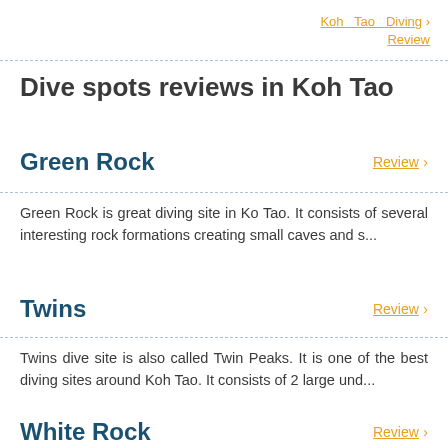Koh Tao Diving Review ›
Dive spots reviews in Koh Tao
Green Rock
Green Rock is great diving site in Ko Tao. It consists of several interesting rock formations creating small caves and s...
Twins
Twins dive site is also called Twin Peaks. It is one of the best diving sites around Koh Tao. It consists of 2 large und...
White Rock